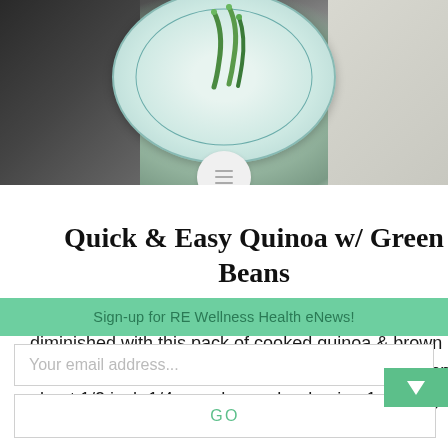[Figure (photo): Food photo showing a light blue ceramic plate with green beans on a dark background, partially cropped at top of page]
Quick & Easy Quinoa w/ Green Beans
Quinoa Brown Rice and Green Beans Prep time is diminished with this pack of cooked quinoa & brown rice. Ingredients: 2 cups frozen green beans – snapped about 1/2 inch 1/4 cup chopped red onion 1 package Seeds of Ch... Garlic Quinoa & Brown Rice 1/2 Tbs Extra Virgin Oliv...
Sign-up for RE Wellness Health eNews!
Your email address...
GO